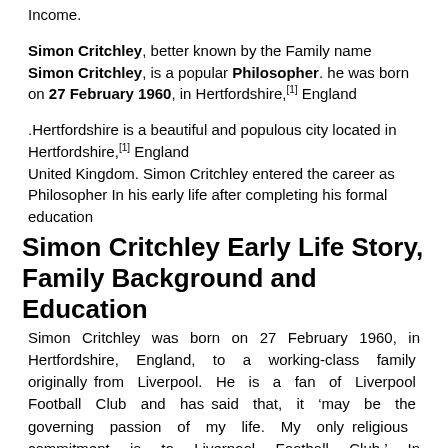Income.
Simon Critchley, better known by the Family name Simon Critchley, is a popular Philosopher. he was born on 27 February 1960, in Hertfordshire,[1] England
.Hertfordshire is a beautiful and populous city located in Hertfordshire,[1] England
United Kingdom. Simon Critchley entered the career as Philosopher In his early life after completing his formal education
Simon Critchley Early Life Story, Family Background and Education
Simon Critchley was born on 27 February 1960, in Hertfordshire, England, to a working-class family originally from Liverpool. He is a fan of Liverpool Football Club and has said that, it ‘may be the governing passion of my life. My only religious commitment is to Liverpool Football Club.’ In grammar school, he studied history, sciences, languages (French and Portuguese) and English literature. For the nineteenth and